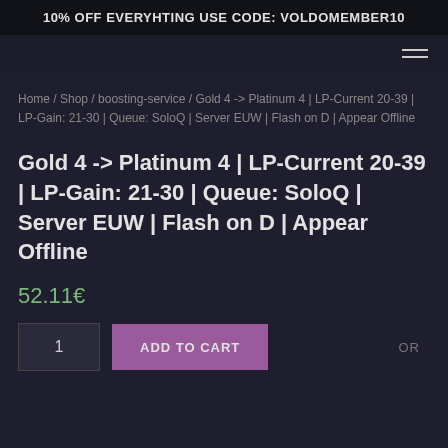10% OFF EVERYHTING USE CODE: VOLDOMEMBER10
Home / Shop / boosting-service / Gold 4 -> Platinum 4 | LP-Current 20-39 | LP-Gain: 21-30 | Queue: SoloQ | Server EUW | Flash on D | Appear Offline
Gold 4 -> Platinum 4 | LP-Current 20-39 | LP-Gain: 21-30 | Queue: SoloQ | Server EUW | Flash on D | Appear Offline
52.11€
1
ADD TO CART
OR